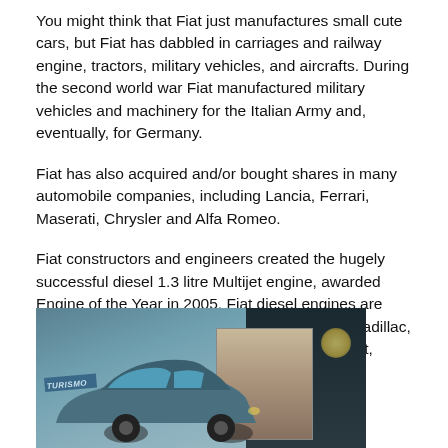You might think that Fiat just manufactures small cute cars, but Fiat has dabbled in carriages and railway engine, tractors, military vehicles, and aircrafts. During the second world war Fiat manufactured military vehicles and machinery for the Italian Army and, eventually, for Germany.
Fiat has also acquired and/or bought shares in many automobile companies, including Lancia, Ferrari, Maserati, Chrysler and Alfa Romeo.
Fiat constructors and engineers created the hugely successful diesel 1.3 litre Multijet engine, awarded Engine of the Year in 2005. Fiat diesel engines are used in many vehicles, including Alfa Romeo, Cadillac, Chevrolet, Citroen, Iveco, Lancia, Opel, Peugeot, Saab, and Suzuki. You might be “driving a Fiat” without even knowing it!
[Figure (photo): A photograph showing a Fiat car with a 'TURISMO' sign visible, parked near a storefront with posters in the background, in an urban setting with dark background.]